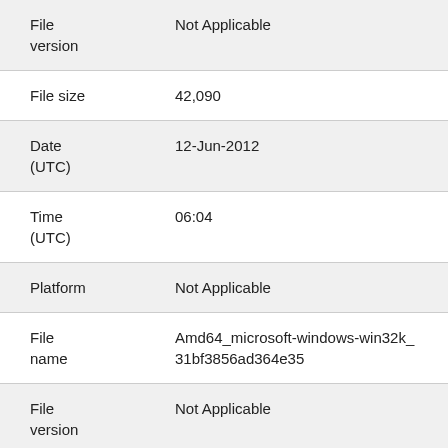| Field | Value |
| --- | --- |
| File version | Not Applicable |
| File size | 42,090 |
| Date (UTC) | 12-Jun-2012 |
| Time (UTC) | 06:04 |
| Platform | Not Applicable |
| File name | Amd64_microsoft-windows-win32k_31bf3856ad364e35 |
| File version | Not Applicable |